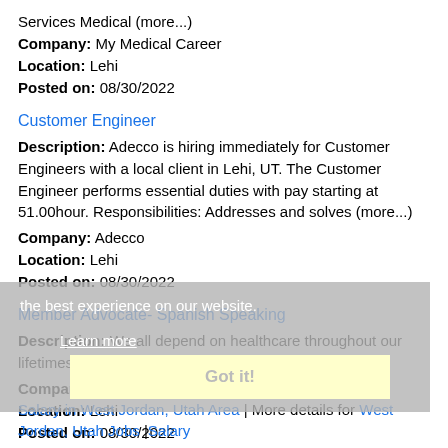Services Medical (more...)
Company: My Medical Career
Location: Lehi
Posted on: 08/30/2022
Customer Engineer
Description: Adecco is hiring immediately for Customer Engineers with a local client in Lehi, UT. The Customer Engineer performs essential duties with pay starting at 51.00hour. Responsibilities: Addresses and solves (more...)
Company: Adecco
Location: Lehi
Posted on: 08/30/2022
Member Advocate- Spanish Speaking
Description: We all depend on healthcare throughout our lifetimes, for ourselves, and our families
Company: Collective Health
Location: Lehi
Posted on: 08/30/2022
Salary in West Jordan, Utah Area | More details for West Jordan, Utah Jobs |Salary